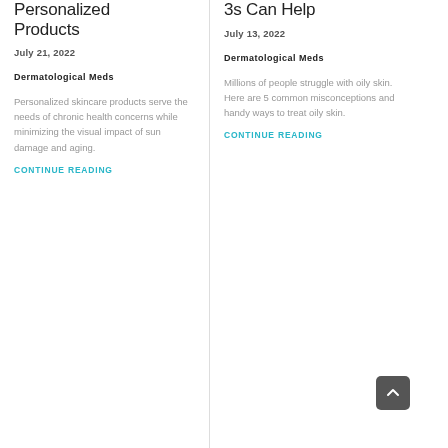Personalized Products
July 21, 2022
Dermatological Meds
Personalized skincare products serve the needs of chronic health concerns while minimizing the visual impact of sun damage and aging.
CONTINUE READING
3s Can Help
July 13, 2022
Dermatological Meds
Millions of people struggle with oily skin. Here are 5 common misconceptions and handy ways to treat oily skin.
CONTINUE READING